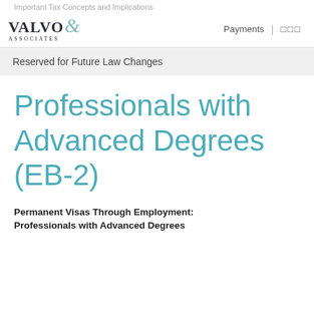Important Tax Concepts and Implications
[Figure (logo): Valvo & Associates law firm logo with teal ampersand]
Payments | □□□
Reserved for Future Law Changes
Professionals with Advanced Degrees (EB-2)
Permanent Visas Through Employment: Professionals with Advanced Degrees